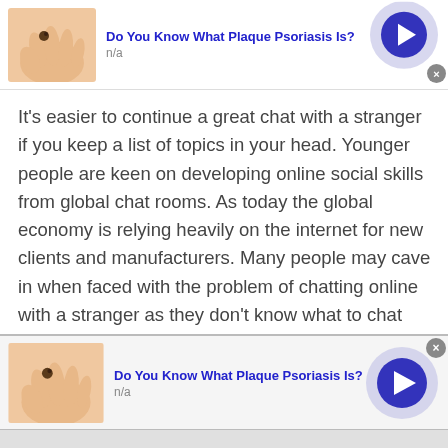[Figure (infographic): Top advertisement banner: thumbnail image of a hand with a mole/skin spot, bold blue title 'Do You Know What Plaque Psoriasis Is?', subtitle 'n/a', circular blue arrow button on right, close X button]
It's easier to continue a great chat with a stranger if you keep a list of topics in your head. Younger people are keen on developing online social skills from global chat rooms. As today the global economy is relying heavily on the internet for new clients and manufacturers. Many people may cave in when faced with the problem of chatting online with a stranger as they don't know what to chat about.

You might ask foreigners in an online chat with some
[Figure (infographic): Bottom advertisement banner: thumbnail image of a hand with a mole/skin spot, bold blue title 'Do You Know What Plaque Psoriasis Is?', subtitle 'n/a', circular blue arrow button on right, close X button]